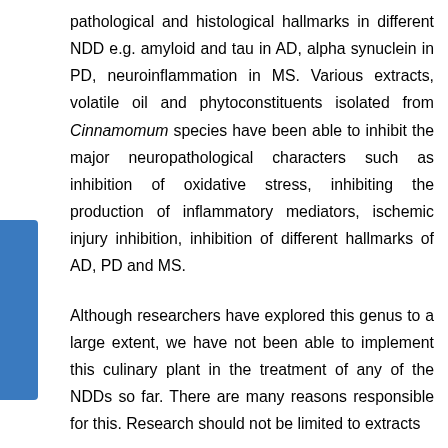pathological and histological hallmarks in different NDD e.g. amyloid and tau in AD, alpha synuclein in PD, neuroinflammation in MS. Various extracts, volatile oil and phytoconstituents isolated from Cinnamomum species have been able to inhibit the major neuropathological characters such as inhibition of oxidative stress, inhibiting the production of inflammatory mediators, ischemic injury inhibition, inhibition of different hallmarks of AD, PD and MS.
Although researchers have explored this genus to a large extent, we have not been able to implement this culinary plant in the treatment of any of the NDDs so far. There are many reasons responsible for this. Research should not be limited to extracts